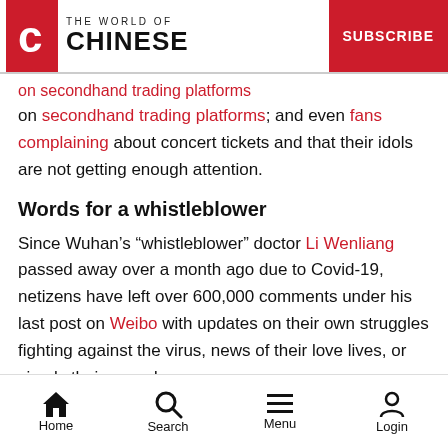THE WORLD OF CHINESE | SUBSCRIBE
on secondhand trading platforms; and even fans complaining about concert tickets and that their idols are not getting enough attention.
Words for a whistleblower
Since Wuhan’s “whistleblower” doctor Li Wenliang passed away over a month ago due to Covid-19, netizens have left over 600,000 comments under his last post on Weibo with updates on their own struggles fighting against the virus, news of their love lives, or simply their regards.
Home | Search | Menu | Login